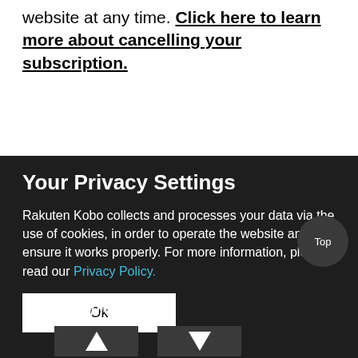website at any time. Click here to learn more about cancelling your subscription.
Your Privacy Settings
Rakuten Kobo collects and processes your data via the use of cookies, in order to operate the website and ensure it works properly. For more information, please read our Privacy Policy.
Ok
article helpful?